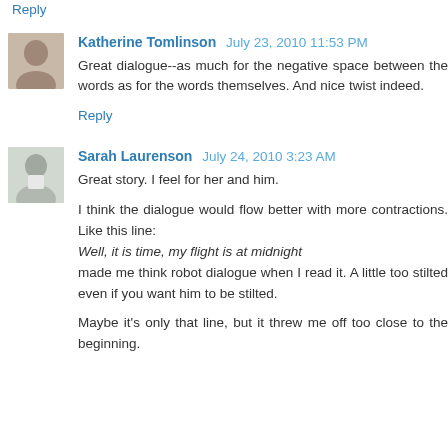Reply
Katherine Tomlinson  July 23, 2010 11:53 PM
Great dialogue--as much for the negative space between the words as for the words themselves. And nice twist indeed.
Reply
Sarah Laurenson  July 24, 2010 3:23 AM
Great story. I feel for her and him.
I think the dialogue would flow better with more contractions. Like this line:
Well, it is time, my flight is at midnight
made me think robot dialogue when I read it. A little too stilted even if you want him to be stilted.
Maybe it's only that line, but it threw me off too close to the beginning.